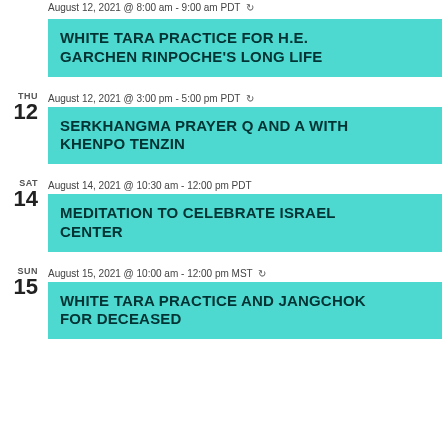August 12, 2021 @ 8:00 am - 9:00 am PDT ↻
WHITE TARA PRACTICE FOR H.E. GARCHEN RINPOCHE'S LONG LIFE
THU 12 August 12, 2021 @ 3:00 pm - 5:00 pm PDT ↻
SERKHANGMA PRAYER Q AND A WITH KHENPO TENZIN
SAT 14 August 14, 2021 @ 10:30 am - 12:00 pm PDT
MEDITATION TO CELEBRATE ISRAEL CENTER
SUN 15 August 15, 2021 @ 10:00 am - 12:00 pm MST ↻
WHITE TARA PRACTICE AND JANGCHOK FOR DECEASED